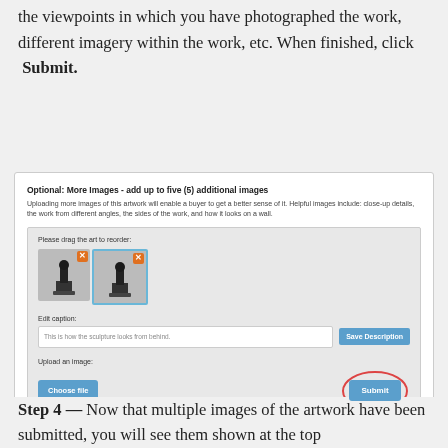the viewpoints in which you have photographed the work, different imagery within the work, etc. When finished, click Submit.
[Figure (screenshot): Screenshot of an artwork upload interface showing 'Optional: More Images - add up to five (5) additional images' section. Contains two sculpture thumbnail images with orange X buttons, an 'Edit caption' text field with placeholder text 'This is how the sculpture looks from behind', a 'Save Description' button, a 'Choose file' button, and a 'Submit' button circled in red.]
Step 4 — Now that multiple images of the artwork have been submitted, you will see them shown at the top